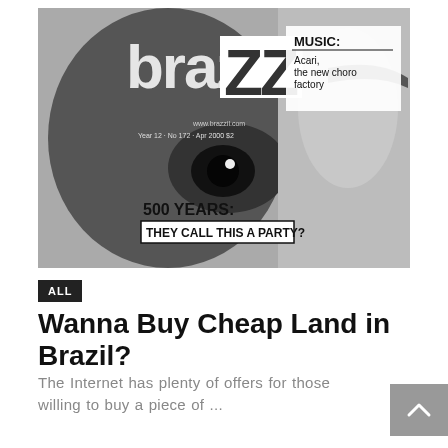[Figure (photo): Black and white magazine cover of 'brazzil' magazine showing a close-up of a face/eye. Text on cover includes: 'MUSIC: Acari, the new choro factory', 'Year 12 · No 172 · Apr 2000 $2', '500 YEARS: THEY CALL THIS A PARTY?', 'www.brazzil.com']
ALL
Wanna Buy Cheap Land in Brazil?
The Internet has plenty of offers for those willing to buy a piece of ...